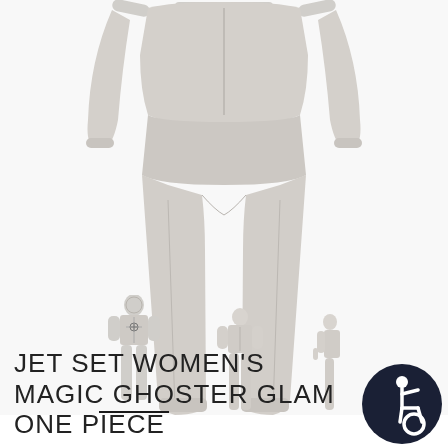[Figure (photo): Main product photo showing a light grey women's one-piece ski suit on a mannequin, cropped to show torso and legs against white background. Arms are partially visible at top.]
[Figure (photo): Three thumbnail images of the product shown on a 3D mannequin from different angles: front with zipper detail, front plain view, and side/back view. The first thumbnail has a dark underline indicating it is selected.]
JET SET WOMEN'S MAGIC GHOSTER GLAM ONE PIECE